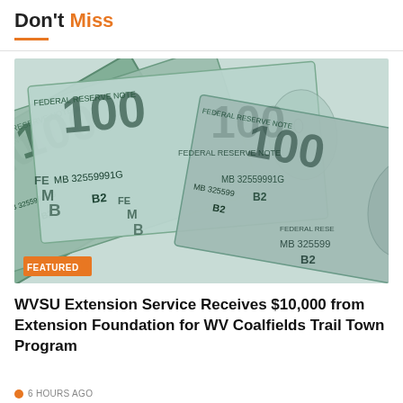Don't Miss
[Figure (photo): Fanned out $100 US dollar bills showing Federal Reserve Note serial number MB32559991G B2, with a FEATURED badge overlay in the bottom left corner]
WVSU Extension Service Receives $10,000 from Extension Foundation for WV Coalfields Trail Town Program
6 HOURS AGO